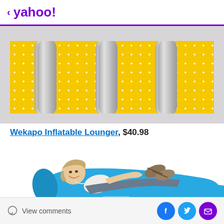< yahoo!
[Figure (photo): Product photo: yellow polka-dot background with silver inflatable lounger shapes arranged in three pairs]
Wekapo Inflatable Lounger, $40.98
[Figure (photo): Woman smiling, lying on a blue inflatable air lounger, wearing sandals and casual clothes]
View comments | Facebook share | Twitter share | Email share